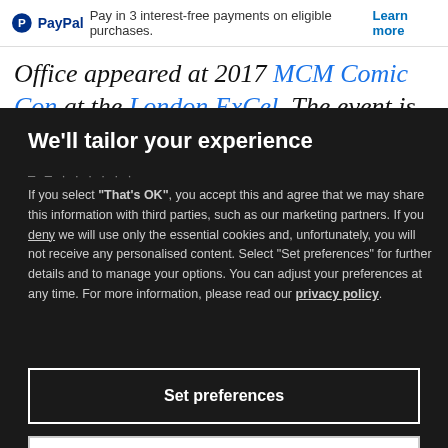PayPal Pay in 3 interest-free payments on eligible purchases. Learn more
Office appeared at 2017 MCM Comic Con at the London ExCel. The event is the largest of its
We'll tailor your experience
If you select "That's OK", you accept this and agree that we may share this information with third parties, such as our marketing partners. If you deny we will use only the essential cookies and, unfortunately, you will not receive any personalised content. Select "Set preferences" for further details and to manage your options. You can adjust your preferences at any time. For more information, please read our privacy policy.
Set preferences
That's OK